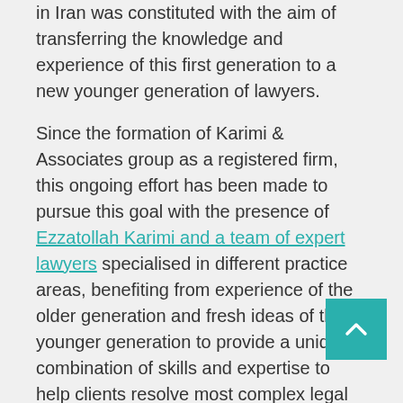in Iran was constituted with the aim of transferring the knowledge and experience of this first generation to a new younger generation of lawyers.
Since the formation of Karimi & Associates group as a registered firm, this ongoing effort has been made to pursue this goal with the presence of Ezzatollah Karimi and a team of expert lawyers specialised in different practice areas, benefiting from experience of the older generation and fresh ideas of the younger generation to provide a unique combination of skills and expertise to help clients resolve most complex legal issues.
Karimi & Associates Law Firm owes its